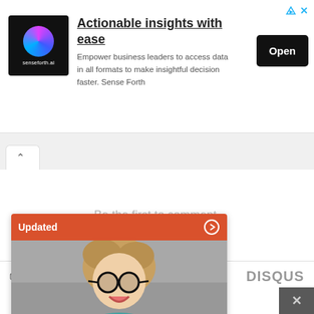[Figure (screenshot): Advertisement banner for senseforth.ai with logo, headline 'Actionable insights with ease', description text, and Open button]
Be the first to comment.
Subscribe  Add Disqus  Do Not Sell My Data  DISQUS
[Figure (screenshot): Updated content card with orange header, arrow icon, and photo of a smiling woman with glasses]
Share This